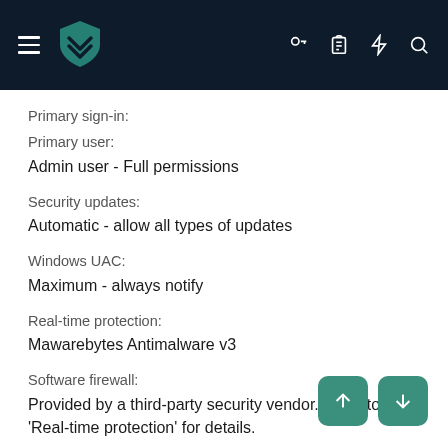App header with hamburger menu, teal shield logo, and icons for key, clipboard, lightning, and search
Primary sign-in:
Primary user:
Admin user - Full permissions
Security updates:
Automatic - allow all types of updates
Windows UAC:
Maximum - always notify
Real-time protection:
Mawarebytes Antimalware v3
Software firewall:
Provided by a third-party security vendor. Refer to 'Real-time protection' for details.
Malware testing: